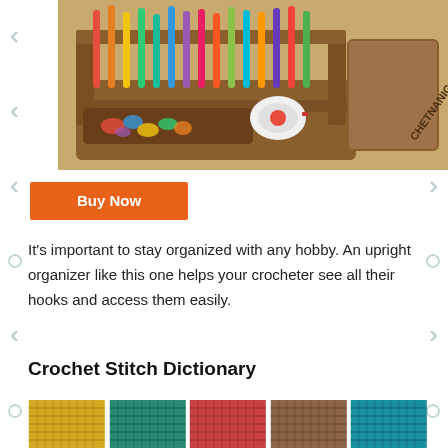[Figure (photo): A wooden upright crochet hook organizer holding colorful hooks of various sizes, with stitch markers and accessories, next to a wooden box labeled CHETNANIGANS.]
Buy Now
It's important to stay organized with any hobby. An upright organizer like this one helps your crocheter see all their hooks and access them easily.
Crochet Stitch Dictionary
[Figure (photo): Row of five crochet fabric swatches in yellow, teal, red/coral, brown, and cyan/blue colors showing different stitch textures.]